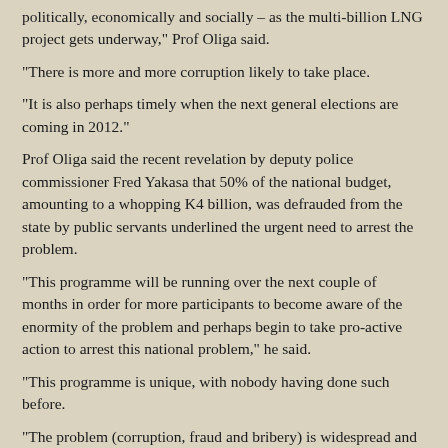politically, economically and socially – as the multi-billion LNG project gets underway," Prof Oliga said.
"There is more and more corruption likely to take place.
"It is also perhaps timely when the next general elections are coming in 2012."
Prof Oliga said the recent revelation by deputy police commissioner Fred Yakasa that 50% of the national budget, amounting to a whopping K4 billion, was defrauded from the state by public servants underlined the urgent need to arrest the problem.
"This programme will be running over the next couple of months in order for more participants to become aware of the enormity of the problem and perhaps begin to take pro-active action to arrest this national problem," he said.
"This programme is unique, with nobody having done such before.
"The problem (corruption, fraud and bribery) is widespread and can't be solved only by police.